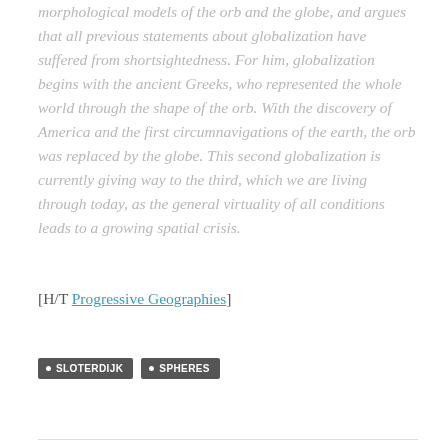morphological models of the orb and the globe, and argues that all previous statements about globalization have suffered from shortsightedness. For him, globalization begins with the ancient Greeks, who represented the whole world through the shape of the orb. With the discovery of America and the first circumnavigations of the earth, the orb was replaced by the globe. This second globalization is currently giving way to the third, which we are living through today, as the general virtuality of all conditions leads to a growing spatial crisis.
[H/T Progressive Geographies]
SLOTERDIJK
SPHERES